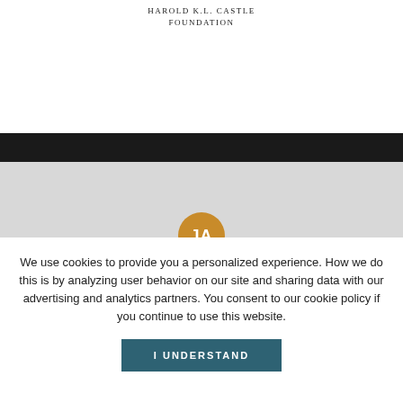HAROLD K.L. CASTLE
FOUNDATION
[Figure (other): Dark horizontal navigation bar]
[Figure (other): Gray section with orange/gold circular avatar showing initials JA]
We use cookies to provide you a personalized experience. How we do this is by analyzing user behavior on our site and sharing data with our advertising and analytics partners. You consent to our cookie policy if you continue to use this website.
I UNDERSTAND